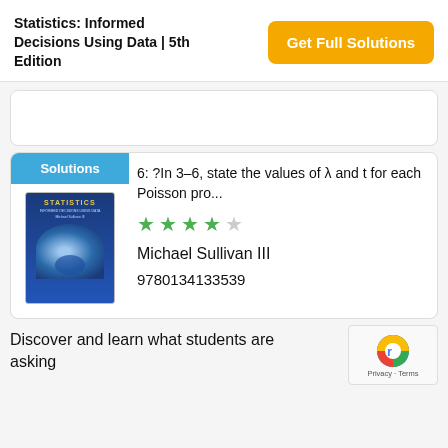Statistics: Informed Decisions Using Data | 5th Edition
Get Full Solutions
6: ?In 3–6, state the values of λ and t for each Poisson pro...
[Figure (illustration): Book cover for Statistics textbook, blue cover with globe imagery]
Michael Sullivan III
9780134133539
Discover and learn what students are asking
[Figure (logo): reCAPTCHA logo with Privacy and Terms text]